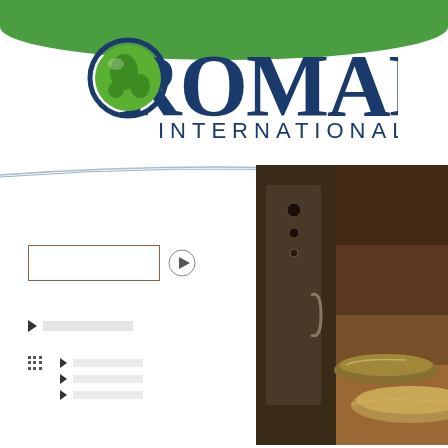[Figure (logo): Romar International logo with green globe globe in letter O, dark blue serif text ROMAR above INTERNATIONAL]
[Figure (photo): Close-up photo of stainless steel commercial baking pans inside a commercial oven, dark warm-toned image]
[Figure (other): Video player widget with empty rectangular box and circular play button]
Navigation arrow item 1
Grid/submenu icon
Sub-navigation arrow item 1
Sub-navigation arrow item 2
Sub-navigation arrow item 3